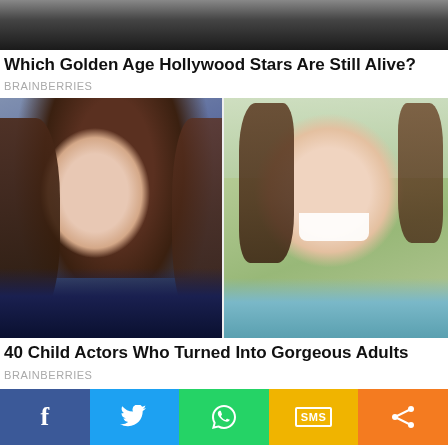[Figure (photo): Partial photo of a person in dark clothing against a dark background, cropped at top of page]
Which Golden Age Hollywood Stars Are Still Alive?
BRAINBERRIES
[Figure (photo): Two side-by-side photos: left shows a young woman with long auburn hair and blue eyes; right shows a smiling young girl with missing front teeth and brown hair]
40 Child Actors Who Turned Into Gorgeous Adults
BRAINBERRIES
[Figure (infographic): Social sharing bar with five colored buttons: Facebook (blue), Twitter (light blue), WhatsApp (green), SMS (yellow/gold), Share (orange)]